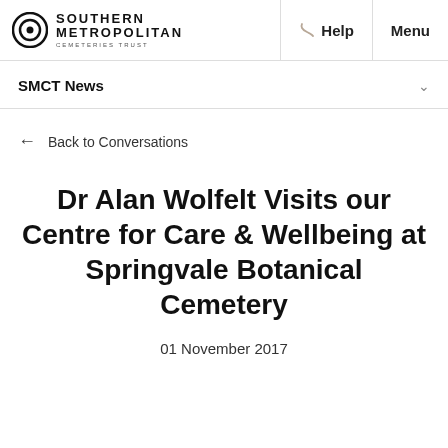SOUTHERN METROPOLITAN CEMETERIES TRUST | Help | Menu
SMCT News
← Back to Conversations
Dr Alan Wolfelt Visits our Centre for Care & Wellbeing at Springvale Botanical Cemetery
01 November 2017